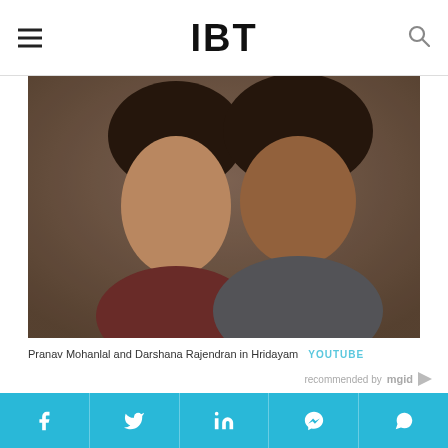IBT
[Figure (photo): Pranav Mohanlal and Darshana Rajendran in a scene from Hridayam, a couple looking at each other closely]
Pranav Mohanlal and Darshana Rajendran in Hridayam  YOUTUBE
recommended by mgid
[Figure (photo): Split image showing two top-of-head views comparing hair density, one with full dark hair and one with thinning hair]
Facebook Twitter LinkedIn Messenger WhatsApp